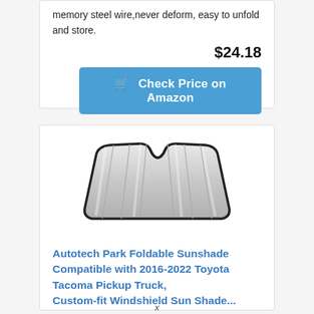memory steel wire,never deform, easy to unfold and store.
$24.18
Check Price on Amazon
[Figure (photo): A foldable silver accordion-style windshield sunshade for a Toyota Tacoma, shown folded/shaped to fit a vehicle windshield, with a notch at the top center and black border edges.]
Autotech Park Foldable Sunshade Compatible with 2016-2022 Toyota Tacoma Pickup Truck, Custom-fit Windshield Sun Shade...